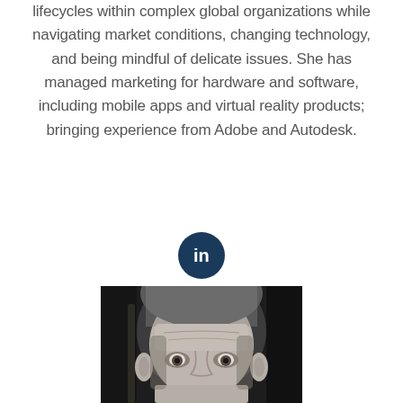lifecycles within complex global organizations while navigating market conditions, changing technology, and being mindful of delicate issues. She has managed marketing for hardware and software, including mobile apps and virtual reality products; bringing experience from Adobe and Autodesk.
[Figure (other): LinkedIn logo icon — white 'in' text on dark navy circular background]
[Figure (photo): Black and white portrait photo of a middle-aged man with short grey hair looking directly at the camera, partially cropped showing head and top of shoulders]